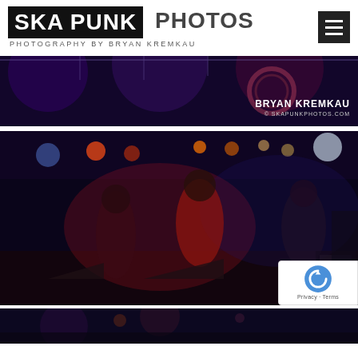SKA PUNK PHOTOS — Photography by Bryan Kremkau
[Figure (photo): Concert/venue photo with dark purple and blue lighting, stage equipment visible, with Bryan Kremkau watermark and skapunkphotos.com]
[Figure (photo): Live concert photo at Knitting Factory venue showing band members performing on stage with colorful stage lighting (red, blue, orange), a singer in red shirt, horn player, and guitarist on right. Bryan Kremkau watermark visible.]
[Figure (photo): Partial third concert photo at bottom, dark/dim lighting, beginning of another live music photo.]